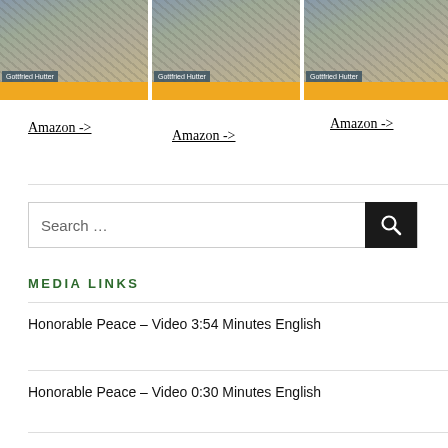[Figure (photo): Three book cover thumbnails showing aerial view of crowd, each with 'Gottfried Hutter' label overlay and orange bar at bottom]
Amazon ->
Amazon ->
Amazon ->
Search …
MEDIA LINKS
Honorable Peace – Video 3:54 Minutes English
Honorable Peace – Video 0:30 Minutes English